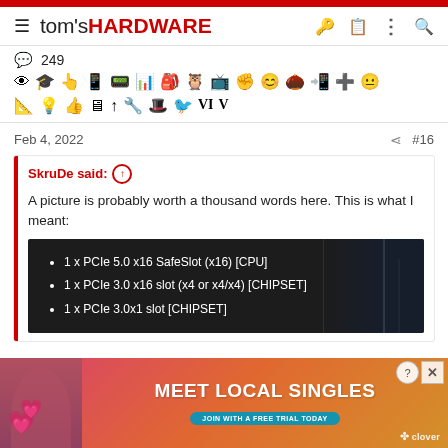tom's HARDWARE
[Figure (screenshot): Emoji/icon toolbar with 249 count and various reaction icons]
Feb 4, 2022   #16
SkruDe said: ↑
A picture is probably worth a thousand words here. This is what I meant:
• 1 x PCIe 5.0 x16 SafeSlot (x16) [CPU]
• 1 x PCIe 3.0 x16 slot (x4 or x4/x4) [CHIPSET]
• 1 x PCIe 3.0x1 slot [CHIPSET]
[Figure (screenshot): Advertisement banner: MEET LOCAL SINGLES - JOIN WITH A FREE TRIAL TODAY - clover]